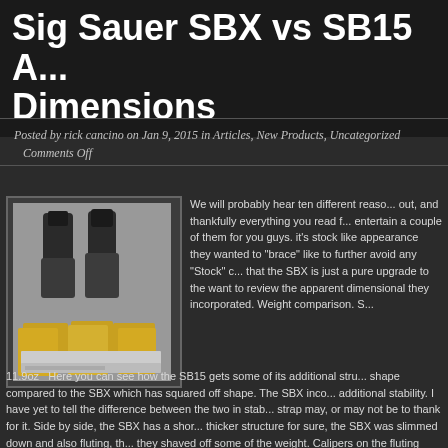Sig Sauer SBX vs SB15 A... Dimensions
Posted by rick cancino on Jan 9, 2015 in Articles, New Products, Uncategorized | Comments Off
[Figure (photo): Product photo showing Sig Sauer SBX and SB15 pistol braces with packaging boxes]
We will probably hear ten different reasons out, and thankfully everything you read f... entertain a couple of them for you guys. it's stock like appearance they wanted to "brace" like to further avoid any "Stock" c... that the SBX is just a pure upgrade to th... want to review the apparent dimensional... they incorporated. Weight comparison. S...
11.9oz  Here you can see how the SB15 gets some of its additional stru... shape compared to the SBX which has squared off shape. The SBX inco... additional stability. I have yet to tell the difference between the two in stab... strap may, or may not be to thank for it. Side by side, the SBX has a shor... thicker structure for sure, the SBX was slimmed down and also fluting, th... they shaved off some of the weight. Calipers on the fluting Caliper on the ... side reference. Now the SB15 and SBx have the same dimensions f...